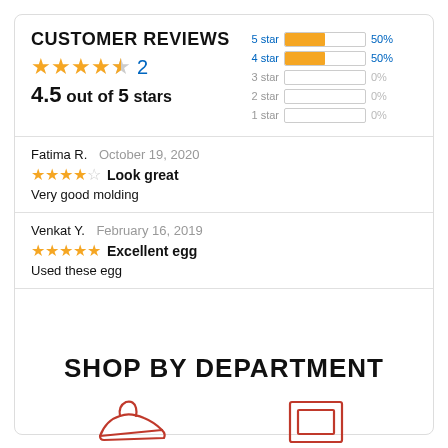CUSTOMER REVIEWS
4.5 out of 5 stars · 2 reviews
[Figure (bar-chart): Star rating distribution]
Fatima R.   October 19, 2020
★★★★☆ Look great
Very good molding
Venkat Y.   February 16, 2019
★★★★★ Excellent egg
Used these egg
SHOP BY DEPARTMENT